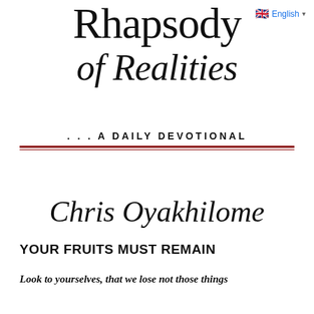Rhapsody of Realities
... A DAILY DEVOTIONAL
Chris Oyakhilome
YOUR FRUITS MUST REMAIN
Look to yourselves, that we lose not those things